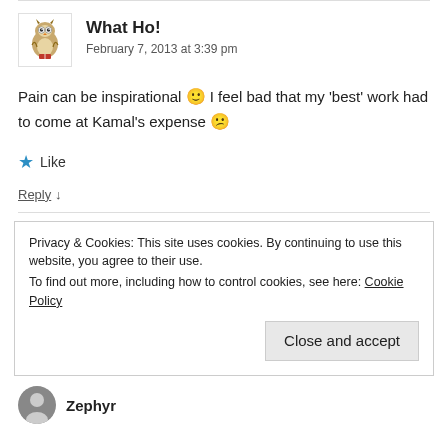What Ho! — February 7, 2013 at 3:39 pm
Pain can be inspirational 🙂 I feel bad that my 'best' work had to come at Kamal's expense 😕
★ Like
Reply ↓
Privacy & Cookies: This site uses cookies. By continuing to use this website, you agree to their use. To find out more, including how to control cookies, see here: Cookie Policy
Close and accept
Zephyr